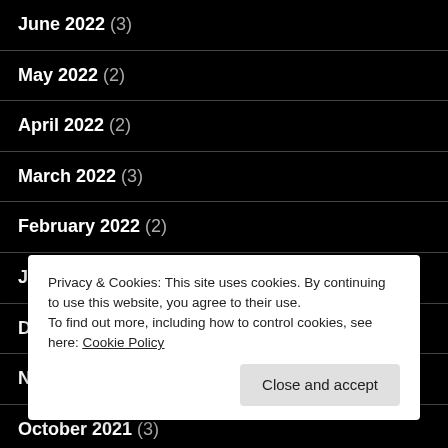June 2022 (3)
May 2022 (2)
April 2022 (2)
March 2022 (3)
February 2022 (2)
January 2022 (2)
December 2021 (1)
November 2021 (2)
October 2021 (3)
Privacy & Cookies: This site uses cookies. By continuing to use this website, you agree to their use. To find out more, including how to control cookies, see here: Cookie Policy
Close and accept